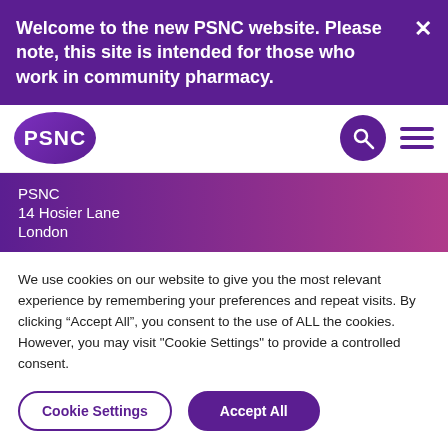Welcome to the new PSNC website. Please note, this site is intended for those who work in community pharmacy.
[Figure (logo): PSNC logo in purple oval with search and hamburger menu icons]
PSNC
14 Hosier Lane
London
We use cookies on our website to give you the most relevant experience by remembering your preferences and repeat visits. By clicking “Accept All”, you consent to the use of ALL the cookies. However, you may visit "Cookie Settings" to provide a controlled consent.
Cookie Settings | Accept All